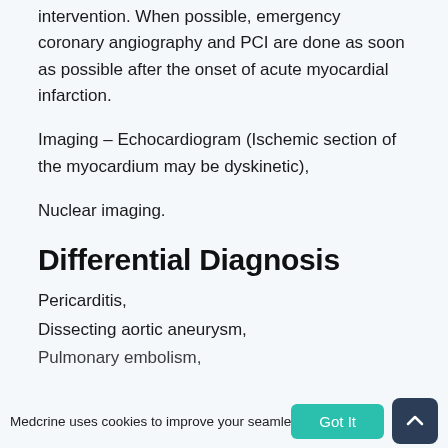intervention. When possible, emergency coronary angiography and PCI are done as soon as possible after the onset of acute myocardial infarction.
Imaging – Echocardiogram (Ischemic section of the myocardium may be dyskinetic),
Nuclear imaging.
Differential Diagnosis
Pericarditis,
Dissecting aortic aneurysm,
Pulmonary embolism,
Medcrine uses cookies to improve your seamless experie...